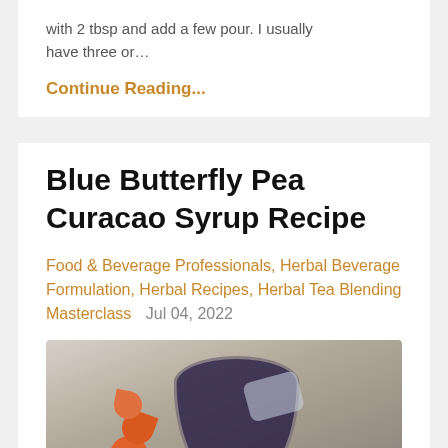with 2 tbsp and add a few pour. I usually have three or…
Continue Reading...
Blue Butterfly Pea Curacao Syrup Recipe
Food & Beverage Professionals, Herbal Beverage Formulation, Herbal Recipes, Herbal Tea Blending Masterclass   Jul 04, 2022
[Figure (photo): A dark blue-purple cocktail drink in a glass with ice, garnished with orange flower-shaped decorations on skewers, viewed from above on a white marble surface.]